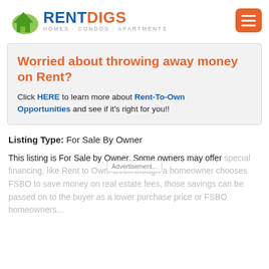[Figure (logo): RentDigs logo with house icon, 'RENT' in blue, 'DIGS' in orange, subtitle 'HOMES · CONDOS · APARTMENTS']
[Figure (infographic): Orange hamburger menu button]
Worried about throwing away money on Rent?
Click HERE to learn more about Rent-To-Own Opportunities and see if it's right for you!!
Listing Type: For Sale By Owner
This listing is For Sale by Owner. Some owners may offer special financing, like Rent to Own. Even though a homeowner chooses FSBO to save money on real estate fees, those savings can be passed on to the buyer as a lower purchase price or FSBO homeowners...
Advertisement...